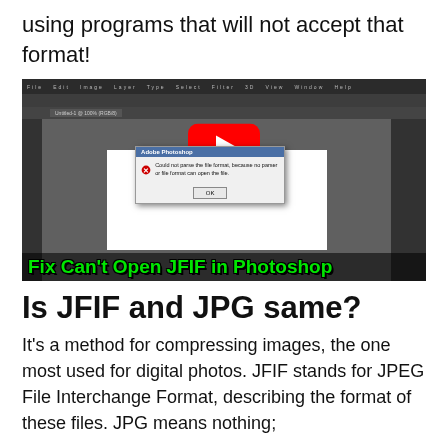using programs that will not accept that format!
[Figure (screenshot): A YouTube video thumbnail showing Adobe Photoshop open with an error dialog 'Could not parse the file format' and a red YouTube play button overlay. Green text at the bottom reads 'Fix Can't Open JFIF in Photoshop'.]
Is JFIF and JPG same?
It’s a method for compressing images, the one most used for digital photos. JFIF stands for JPEG File Interchange Format, describing the format of these files. JPG means nothing;